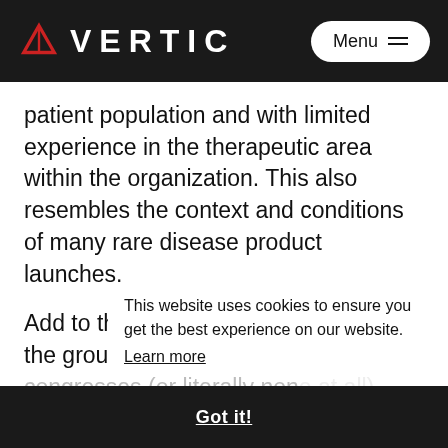VERTIC | Menu
patient population and with limited experience in the therapeutic area within the organization. This also resembles the context and conditions of many rare disease product launches.
Add to this, a limited Sales Force on the ground and sketchy traction at congresses (or literally none at all) during a particularly challenging time. Here come the new tools accelerating, notably accelerating, new habits cemented by necessity through the global health crisis. For example, Mckinsey recently reported that only roughly 1/3 of physicians are willing to accept rep
This website uses cookies to ensure you get the best experience on our website.
Learn more
Got it!